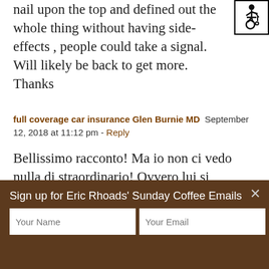nail upon the top and defined out the whole thing without having side-effects , people could take a signal. Will likely be back to get more. Thanks
full coverage car insurance Glen Burnie MD  September 12, 2018 at 11:12 pm - Reply
Bellissimo racconto! Ma io non ci vedo nulla di straordinario! Ovvero lui si comportava come ci si deve comportare non era migliore di altri! Semplicemente sono quelli che non si comportano cosi ad
Sign up for Eric Rhoads' Sunday Coffee Emails